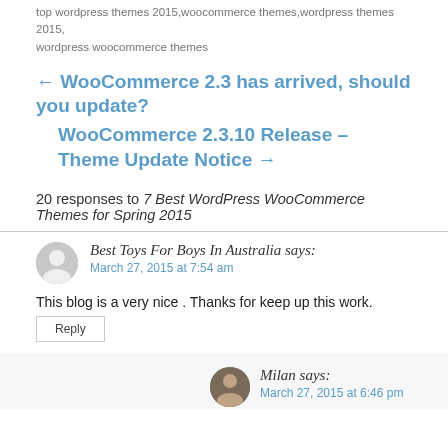top wordpress themes 2015,woocommerce themes,wordpress themes 2015, wordpress woocommerce themes
← WooCommerce 2.3 has arrived, should you update?
WooCommerce 2.3.10 Release – Theme Update Notice →
20 responses to 7 Best WordPress WooCommerce Themes for Spring 2015
Best Toys For Boys In Australia says:
March 27, 2015 at 7:54 am
This blog is a very nice . Thanks for keep up this work.
Reply
Milan says:
March 27, 2015 at 6:46 pm